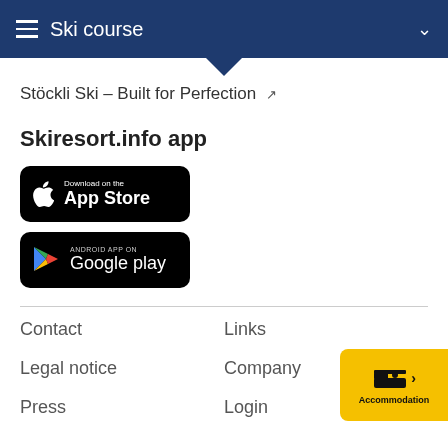Ski course
Stöckli Ski – Built for Perfection
Skiresort.info app
[Figure (screenshot): Download on the App Store badge (black, Apple logo)]
[Figure (screenshot): Android App on Google Play badge (black, Google Play logo)]
Contact
Links
Legal notice
Company
Press
Login